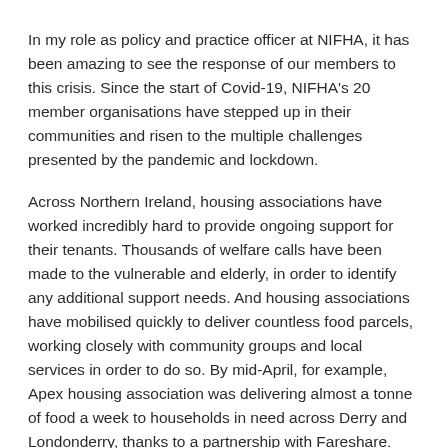In my role as policy and practice officer at NIFHA, it has been amazing to see the response of our members to this crisis. Since the start of Covid-19, NIFHA's 20 member organisations have stepped up in their communities and risen to the multiple challenges presented by the pandemic and lockdown.
Across Northern Ireland, housing associations have worked incredibly hard to provide ongoing support for their tenants. Thousands of welfare calls have been made to the vulnerable and elderly, in order to identify any additional support needs. And housing associations have mobilised quickly to deliver countless food parcels, working closely with community groups and local services in order to do so. By mid-April, for example, Apex housing association was delivering almost a tonne of food a week to households in need across Derry and Londonderry, thanks to a partnership with Fareshare.